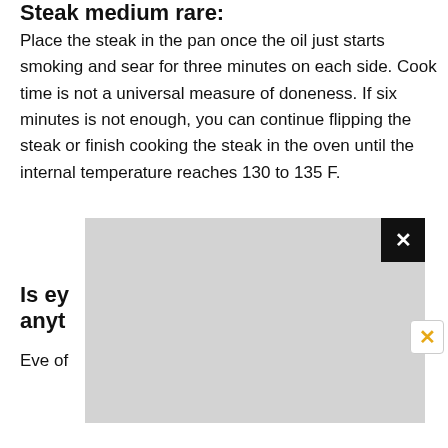Steak medium rare:
Place the steak in the pan once the oil just starts smoking and sear for three minutes on each side. Cook time is not a universal measure of doneness. If six minutes is not enough, you can continue flipping the steak or finish cooking the steak in the oven until the internal temperature reaches 130 to 135 F.
Is ey
anyt
Eve of                                            le cut